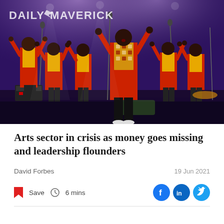[Figure (photo): Group of male choir singers on stage, wearing red and yellow African-print shirts, arms raised, performing under stage lights. One central figure in a colorful African-print shirt stands prominently in the foreground. Daily Maverick watermark visible top-left.]
Arts sector in crisis as money goes missing and leadership flounders
David Forbes
19 Jun 2021
Save   6 mins